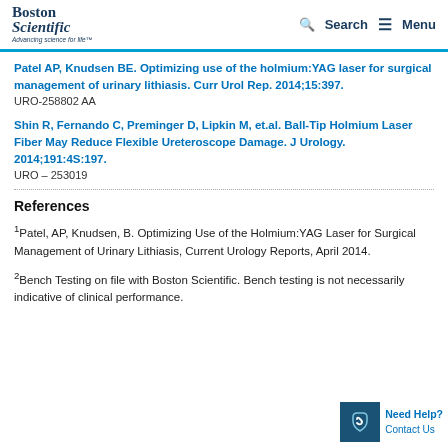Boston Scientific — Advancing science for life™ | Search | Menu
Patel AP, Knudsen BE. Optimizing use of the holmium:YAG laser for surgical management of urinary lithiasis. Curr Urol Rep. 2014;15:397.
URO-258802 AA
Shin R, Fernando C, Preminger D, Lipkin M, et.al. Ball-Tip Holmium Laser Fiber May Reduce Flexible Ureteroscope Damage. J Urology. 2014;191:4S:197.
URO – 253019
References
1 Patel, AP, Knudsen, B. Optimizing Use of the Holmium:YAG Laser for Surgical Management of Urinary Lithiasis, Current Urology Reports, April 2014.
2 Bench Testing on file with Boston Scientific. Bench testing is not necessarily indicative of clinical performance.